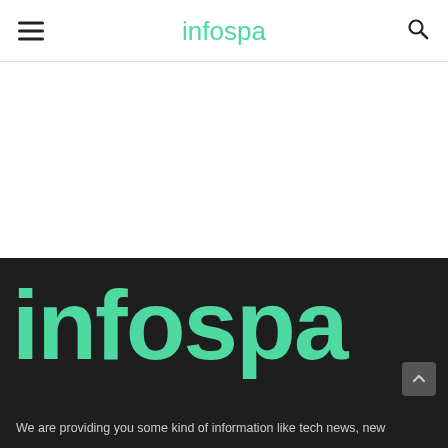infospa
[Figure (logo): Large infospa logo in mint/teal green on dark background]
We are providing you some kind of information like tech news, new